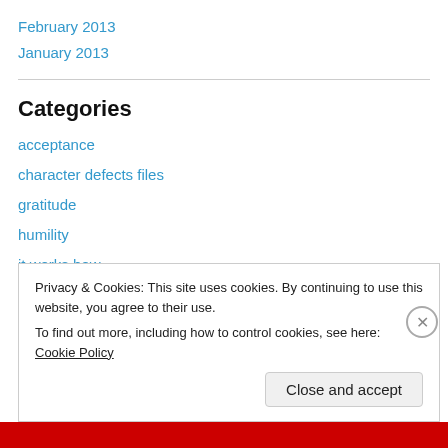February 2013
January 2013
Categories
acceptance
character defects files
gratitude
humility
it works how
king baby
operation self-worth
Privacy & Cookies: This site uses cookies. By continuing to use this website, you agree to their use.
To find out more, including how to control cookies, see here: Cookie Policy
Close and accept